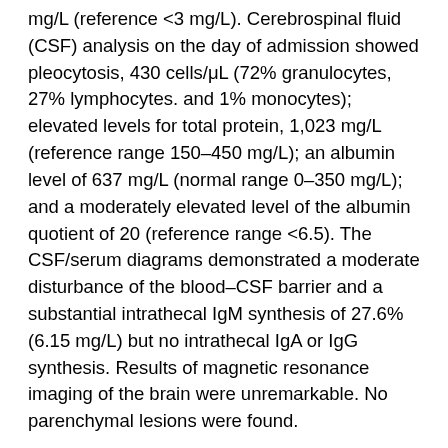mg/L (reference <3 mg/L). Cerebrospinal fluid (CSF) analysis on the day of admission showed pleocytosis, 430 cells/μL (72% granulocytes, 27% lymphocytes. and 1% monocytes); elevated levels for total protein, 1,023 mg/L (reference range 150–450 mg/L); an albumin level of 637 mg/L (normal range 0–350 mg/L); and a moderately elevated level of the albumin quotient of 20 (reference range <6.5). The CSF/serum diagrams demonstrated a moderate disturbance of the blood–CSF barrier and a substantial intrathecal IgM synthesis of 27.6% (6.15 mg/L) but no intrathecal IgA or IgG synthesis. Results of magnetic resonance imaging of the brain were unremarkable. No parenchymal lesions were found.
Antimicrobial drug therapy was initiated with ceftriaxone and ampicillin. Acyclovir was administered empirically for herpes simplex encephalitis until this